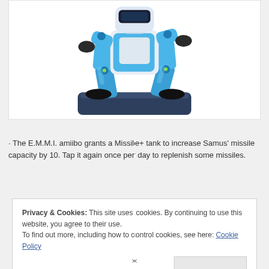[Figure (photo): A Nintendo amiibo figure of E.M.M.I., a blue metallic robot character in a crouching/running pose, displayed on a dark navy rectangular base. The figure is photographed on a white background.]
· The E.M.M.I. amiibo grants a Missile+ tank to increase Samus' missile capacity by 10. Tap it again once per day to replenish some missiles.
Privacy & Cookies: This site uses cookies. By continuing to use this website, you agree to their use. To find out more, including how to control cookies, see here: Cookie Policy